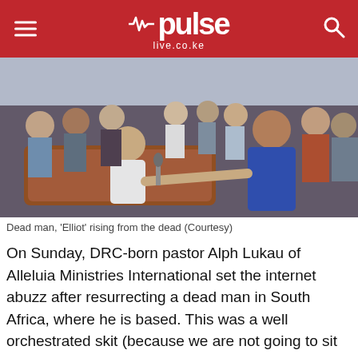pulse live.co.ke
[Figure (photo): A man sitting up in a coffin shaking hands with a pastor in a blue suit, surrounded by a crowd of people. The man in the coffin appears to be rising from the dead.]
Dead man, 'Elliot' rising from the dead (Courtesy)
On Sunday, DRC-born pastor Alph Lukau of Alleluia Ministries International set the internet abuzz after resurrecting a dead man in South Africa, where he is based. This was a well orchestrated skit (because we are not going to sit here and pretend that it was real) performed in front of hundreds of eye witnesses and cameras. In the video that is now circling the interweb, the hearse arrives, carrying the body of 'Elliot', the supposedly deceased man. The casket is then brought out and carried